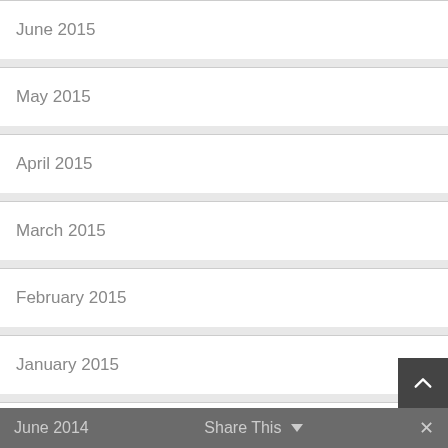June 2015
May 2015
April 2015
March 2015
February 2015
January 2015
December 2014
October 2014
September 2014
August 2014
June 2014   Share This   ×